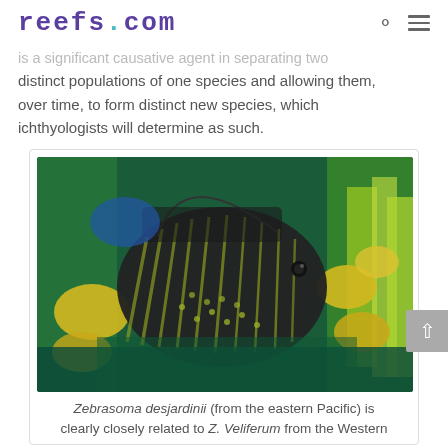reefs.com
is a significant causative agent in separating two distinct populations of one species and allowing them, over time, to form distinct new species, which ichthyologists will determine as such.
[Figure (photo): A Zebrasoma desjardinii fish (sailfin tang) with dark body and yellow/green stripes swimming among yellow fish and green coral in an aquarium or reef environment.]
Zebrasoma desjardinii (from the eastern Pacific) is clearly closely related to Z. Veliferum from the Western